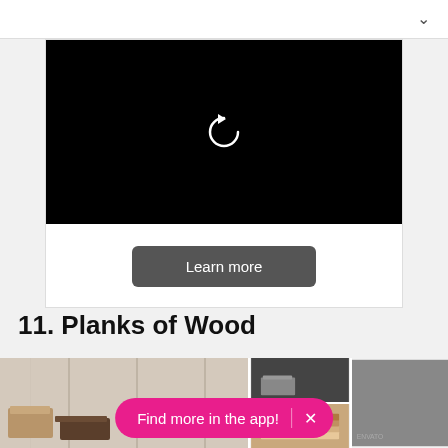[Figure (screenshot): Video player area showing black screen with replay/refresh icon (circular arrow) and a 'Learn more' button below]
11. Planks of Wood
[Figure (photo): Images of wood planks/boards at the bottom of the page]
Find more in the app!